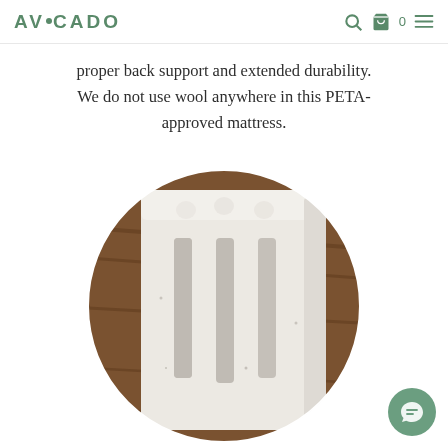AVOCADO
proper back support and extended durability. We do not use wool anywhere in this PETA-approved mattress.
[Figure (photo): Circular cropped photo of a cross-section of white latex foam mattress material showing vertical channels/cutouts, placed on a wooden surface background.]